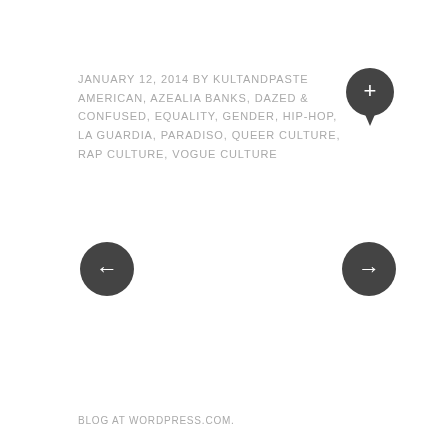JANUARY 12, 2014 BY KULTANDPASTE AMERICAN, AZEALIA BANKS, DAZED & CONFUSED, EQUALITY, GENDER, HIP-HOP, LA GUARDIA, PARADISO, QUEER CULTURE, RAP CULTURE, VOGUE CULTURE
[Figure (illustration): Dark circular chat/comment bubble icon with a white plus sign]
[Figure (illustration): Dark circular navigation button with white left arrow]
[Figure (illustration): Dark circular navigation button with white right arrow]
BLOG AT WORDPRESS.COM.